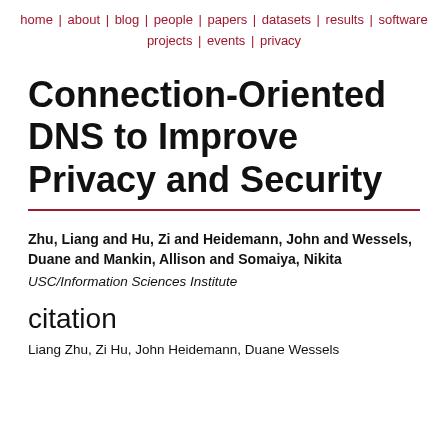home | about | blog | people | papers | datasets | results | software | projects | events | privacy
Connection-Oriented DNS to Improve Privacy and Security
Zhu, Liang and Hu, Zi and Heidemann, John and Wessels, Duane and Mankin, Allison and Somaiya, Nikita
USC/Information Sciences Institute
citation
Liang Zhu, Zi Hu, John Heidemann, Duane Wessels